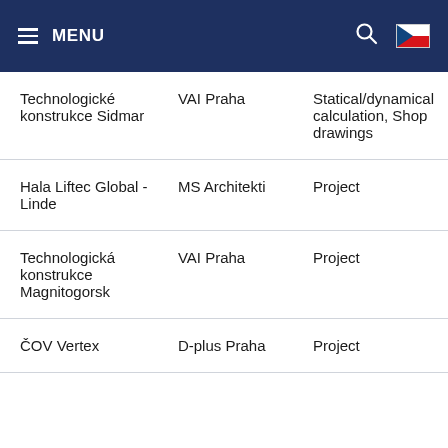MENU
| Technologické konstrukce Sidmar | VAI Praha | Statical/dynamical calculation, Shop drawings |
| Hala Liftec Global - Linde | MS Architekti | Project |
| Technologická konstrukce Magnitogorsk | VAI Praha | Project |
| ČOV Vertex | D-plus Praha | Project |